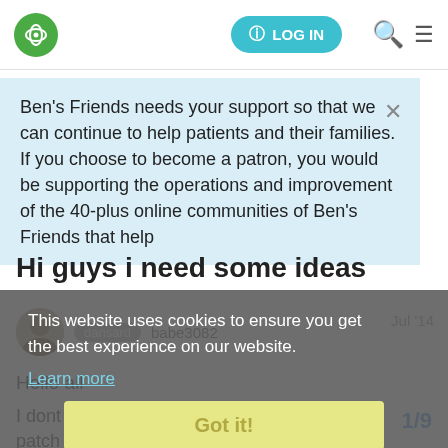LOG IN
Ben's Friends needs your support so that we can continue to help patients and their families.
If you choose to become a patron, you would be supporting the operations and improvement of the 40-plus online communities of Ben's Friends that help
Hi guys i need some ideas
This website uses cookies to ensure you get the best experience on our website.
Learn more
Got it!
babe3082
Jul '14
Hello all
I dont know if any of you may have ideas patch at the minute and need ideas of thi
1/9